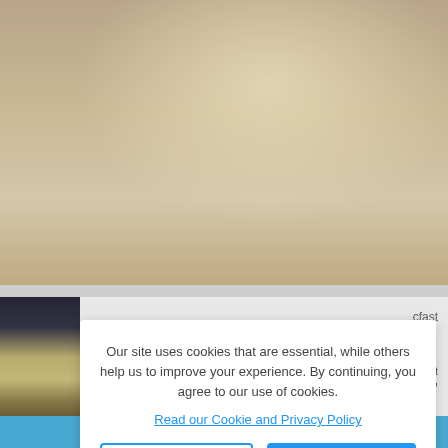[Figure (photo): Interior photo of a cottage room with a mirror, vintage console table with flower vase, window with grid panes, white sofa, and books on a wooden table]
Orchard Cottage at Devon ...
Stellenbosch Self-catering
Sleeps 2
★★★★★ 8 reviews
Avg per night $89
[Figure (photo): Interior photo of a modern room with dark exterior view through large glass doors, and bamboo/wood flooring]
cfast
Our site uses cookies that are essential, while others help us to improve your experience. By continuing, you agree to our use of cookies.
Read our Cookie and Privacy Policy
No
Yes
night $167
Filters